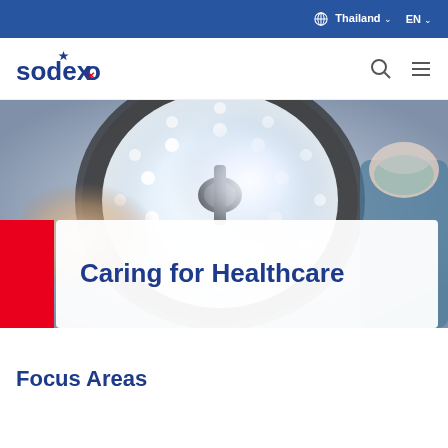Thailand EN
[Figure (logo): Sodexo company logo in blue with red star]
[Figure (photo): Healthcare worker in surgical mask and hairnet adjusting a large circular surgical operating room light. Close-up of gloved hands touching the bright LED light panel.]
Caring for Healthcare
Focus Areas